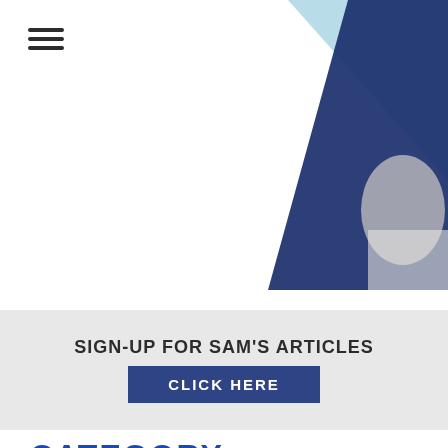[Figure (photo): Top hero area with hamburger menu icon on top-left and geometric triangular shapes in top-right showing light blue and dark navy blue colors with a partial image of a person in white shirt]
SIGN-UP FOR SAM'S ARTICLES
CLICK HERE
CATEGORY: